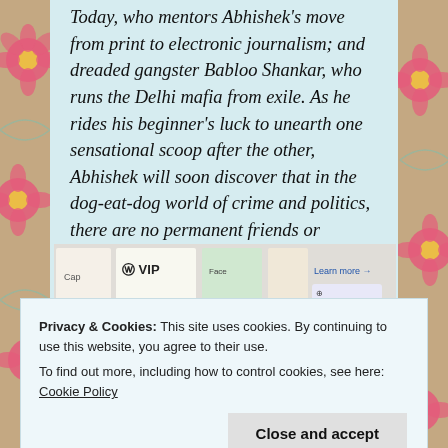Today, who mentors Abhishek's move from print to electronic journalism; and dreaded gangster Babloo Shankar, who runs the Delhi mafia from exile. As he rides his beginner's luck to unearth one sensational scoop after the other, Abhishek will soon discover that in the dog-eat-dog world of crime and politics, there are no permanent friends or enemies; it is every man for himself.
[Figure (other): Advertisement banner showing W VIP and other product cards with 'Learn more' call to action]
Privacy & Cookies: This site uses cookies. By continuing to use this website, you agree to their use.
To find out more, including how to control cookies, see here: Cookie Policy
Close and accept